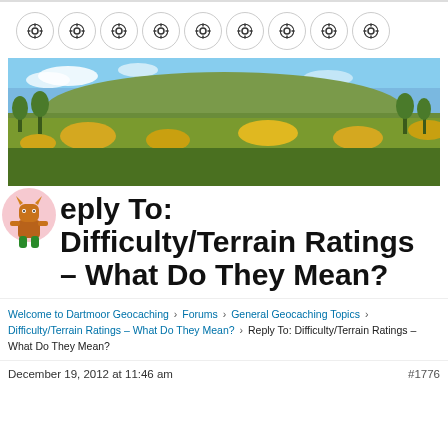[Figure (other): Row of 9 circular navigation icons with a geocaching/target symbol inside each circle]
[Figure (photo): Landscape photo of moorland with gorse bushes, a hill in the background, and a blue sky — likely Dartmoor]
Reply To: Difficulty/Terrain Ratings – What Do They Mean?
Welcome to Dartmoor Geocaching › Forums › General Geocaching Topics › Difficulty/Terrain Ratings – What Do They Mean? › Reply To: Difficulty/Terrain Ratings – What Do They Mean?
December 19, 2012 at 11:46 am   #1776